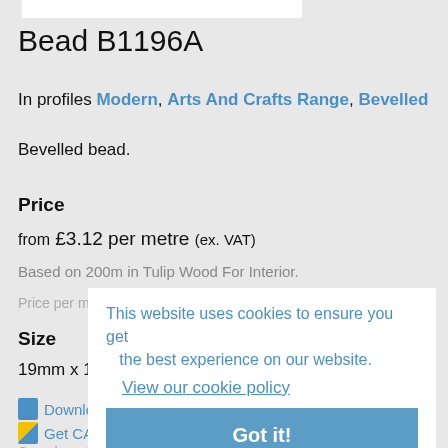Bead B1196A
In profiles Modern, Arts And Crafts Range, Bevelled
Bevelled bead.
Price
from £3.12 per metre (ex. VAT)
Based on 200m in Tulip Wood For Interior.
Price per metre is lower with higher meterage
This website uses cookies to ensure you get the best experience on our website.
View our cookie policy
Got it!
Size
19mm x 19mm
Download PDF
Get CAD files
Sample not available See why »